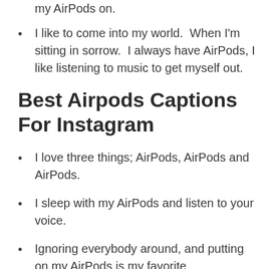my AirPods on.
I like to come into my world.  When I'm sitting in sorrow.  I always have AirPods, I like listening to music to get myself out.
Best Airpods Captions For Instagram
I love three things; AirPods, AirPods and AirPods.
I sleep with my AirPods and listen to your voice.
Ignoring everybody around, and putting on my AirPods is my favorite